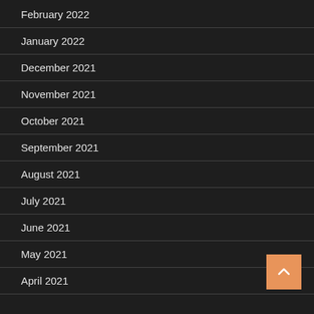February 2022
January 2022
December 2021
November 2021
October 2021
September 2021
August 2021
July 2021
June 2021
May 2021
April 2021